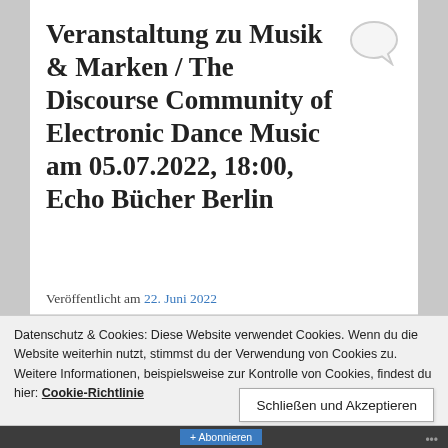Veranstaltung zu Musik & Marken / The Discourse Community of Electronic Dance Music am 05.07.2022, 18:00, Echo Bücher Berlin
Veröffentlicht am 22. Juni 2022
Datenschutz & Cookies: Diese Website verwendet Cookies. Wenn du die Website weiterhin nutzt, stimmst du der Verwendung von Cookies zu.
Weitere Informationen, beispielsweise zur Kontrolle von Cookies, findest du hier: Cookie-Richtlinie
Schließen und Akzeptieren
Abonnieren